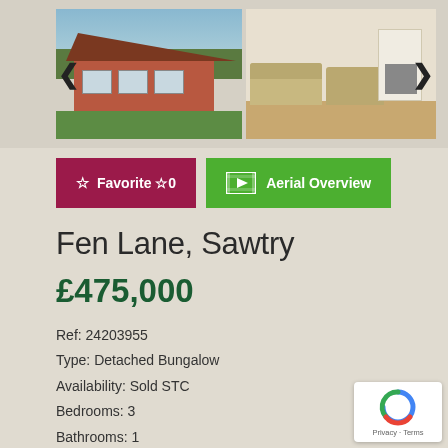[Figure (photo): Property photos strip showing exterior of detached bungalow with green lawn and brick facade, interior living room with sofas and fireplace, and partial third photo]
[Figure (infographic): Favorite button (dark red/maroon) with star icon and count 0, and Aerial Overview button (green) with film/play icon]
Fen Lane, Sawtry
£475,000
Ref: 24203955
Type: Detached Bungalow
Availability: Sold STC
Bedrooms: 3
Bathrooms: 1
Reception Rooms: 2